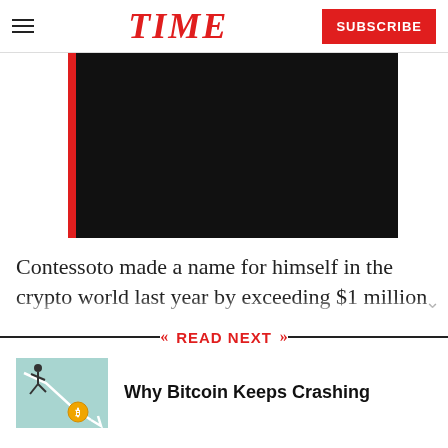TIME  SUBSCRIBE
[Figure (photo): Black video player area with a red vertical bar on the left side]
Contessoto made a name for himself in the crypto world last year by exceeding $1 million in Dogecoin
READ NEXT
[Figure (illustration): Illustration of a person sliding down a falling crypto chart with a Bitcoin coin]
Why Bitcoin Keeps Crashing